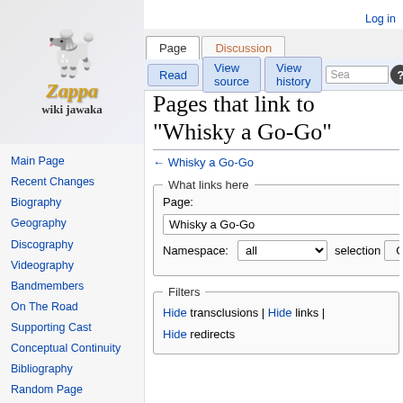[Figure (logo): Zappa Wiki Jawaka logo with a blue poodle wearing sunglasses]
Log in
Page | Discussion | Read | View source | View history | Search | Help
Pages that link to "Whisky a Go-Go"
← Whisky a Go-Go
Main Page
Recent Changes
Biography
Geography
Discography
Videography
Bandmembers
On The Road
Supporting Cast
Conceptual Continuity
Bibliography
Random Page
External Links
Help
What links here
Page: Whisky a Go-Go
Namespace: all
selection Go
Filters
Hide transclusions | Hide links |
Hide redirects